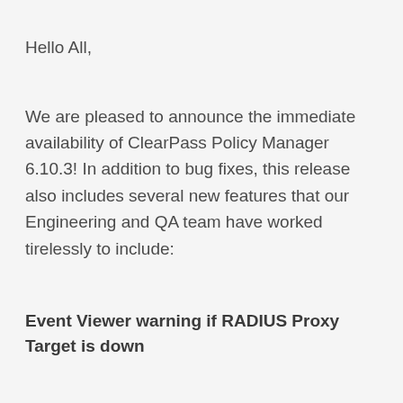Hello All,
We are pleased to announce the immediate availability of ClearPass Policy Manager 6.10.3!  In addition to bug fixes, this release also includes several new features that our Engineering and QA team have worked tirelessly to include:
Event Viewer warning if RADIUS Proxy Target is down